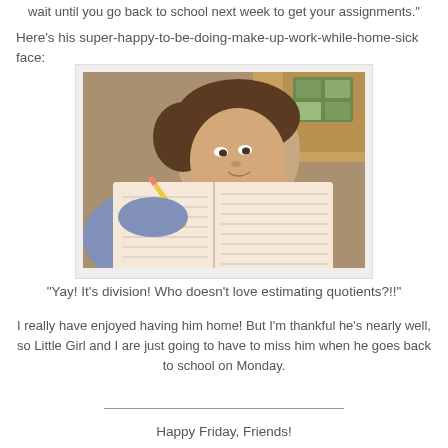wait until you go back to school next week to get your assignments."
Here's his super-happy-to-be-doing-make-up-work-while-home-sick face:
[Figure (photo): A boy leaning over an open workbook/worksheet, holding a pencil, with a somewhat unenthusiastic expression. Wooden desk and stickers visible in background.]
"Yay!  It's division!  Who doesn't love estimating quotients?!!"
I really have enjoyed having him home!  But I'm thankful he's nearly well, so Little Girl and I are just going to have to miss him when he goes back to school on Monday.
Happy Friday, Friends!